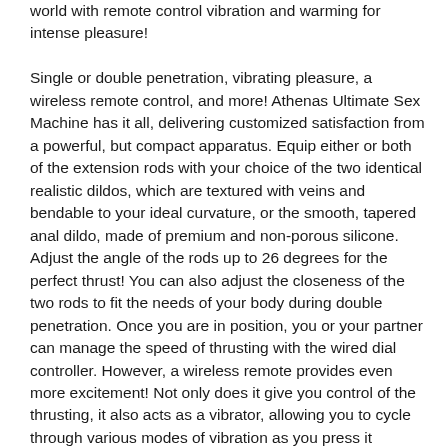world with remote control vibration and warming for intense pleasure! Single or double penetration, vibrating pleasure, a wireless remote control, and more! Athenas Ultimate Sex Machine has it all, delivering customized satisfaction from a powerful, but compact apparatus. Equip either or both of the extension rods with your choice of the two identical realistic dildos, which are textured with veins and bendable to your ideal curvature, or the smooth, tapered anal dildo, made of premium and non-porous silicone. Adjust the angle of the rods up to 26 degrees for the perfect thrust! You can also adjust the closeness of the two rods to fit the needs of your body during double penetration. Once you are in position, you or your partner can manage the speed of thrusting with the wired dial controller. However, a wireless remote provides even more excitement! Not only does it give you control of the thrusting, it also acts as a vibrator, allowing you to cycle through various modes of vibration as you press it against your most sensitive parts. Furthermore, the tip of the controller